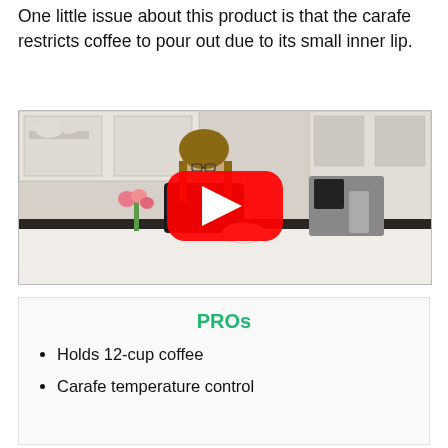One little issue about this product is that the carafe restricts coffee to pour out due to its small inner lip.
[Figure (screenshot): YouTube video thumbnail showing a woman standing in a kitchen behind a counter with a coffee maker, pink flowers, and a bowl. A red YouTube play button overlay is centered on the image.]
PROs
Holds 12-cup coffee
Carafe temperature control